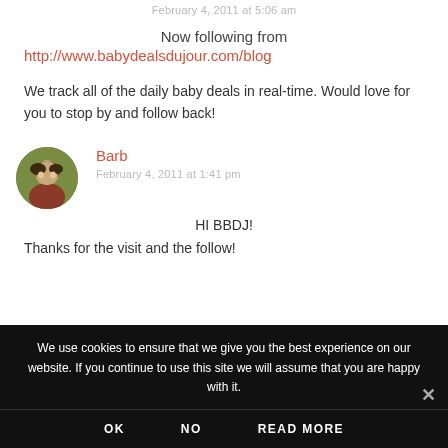February 4, 2011 at 5:06 am
Now following from
http://www.babydealsdujour.com/blog
We track all of the daily baby deals in real-time. Would love for you to stop by and follow back!
[Figure (photo): Circular avatar photo of commenter Barb, a person with dark hair]
Barb
February 4, 2011 at 1:41 pm
HI BBDJ!
Thanks for the visit and the follow!
We use cookies to ensure that we give you the best experience on our website. If you continue to use this site we will assume that you are happy with it.
OK   NO   READ MORE